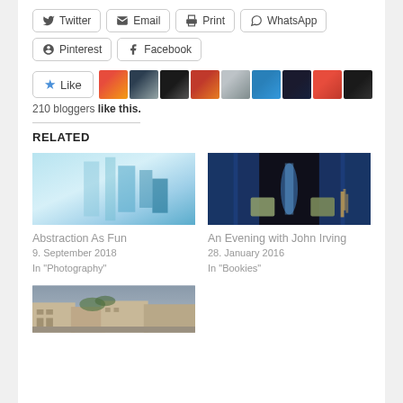[Figure (screenshot): Social share buttons row 1: Twitter, Email, Print, WhatsApp]
[Figure (screenshot): Social share buttons row 2: Pinterest, Facebook]
[Figure (screenshot): Like button with star icon and 9 blogger avatar thumbnails]
210 bloggers like this.
RELATED
[Figure (photo): Abstraction As Fun - blurry blue/white abstract photography image]
Abstraction As Fun
9. September 2018
In "Photography"
[Figure (photo): An Evening with John Irving - dark stage with chairs and lava lamp]
An Evening with John Irving
28. January 2016
In "Bookies"
[Figure (photo): Third related post image - exterior of old stone buildings with ivy]